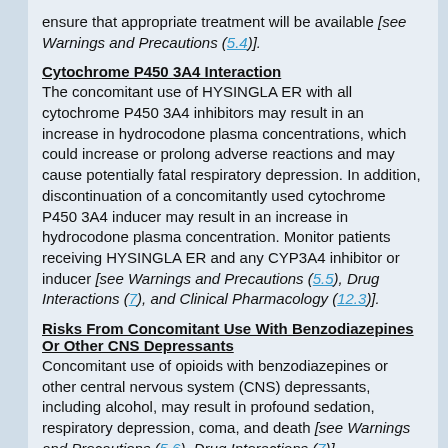ensure that appropriate treatment will be available [see Warnings and Precautions (5.4)].
Cytochrome P450 3A4 Interaction
The concomitant use of HYSINGLA ER with all cytochrome P450 3A4 inhibitors may result in an increase in hydrocodone plasma concentrations, which could increase or prolong adverse reactions and may cause potentially fatal respiratory depression. In addition, discontinuation of a concomitantly used cytochrome P450 3A4 inducer may result in an increase in hydrocodone plasma concentration. Monitor patients receiving HYSINGLA ER and any CYP3A4 inhibitor or inducer [see Warnings and Precautions (5.5), Drug Interactions (7), and Clinical Pharmacology (12.3)].
Risks From Concomitant Use With Benzodiazepines Or Other CNS Depressants
Concomitant use of opioids with benzodiazepines or other central nervous system (CNS) depressants, including alcohol, may result in profound sedation, respiratory depression, coma, and death [see Warnings and Precautions (5.6), Drug Interactions (7)].